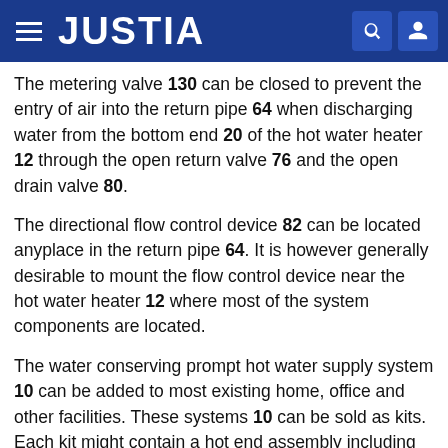JUSTIA
The metering valve 130 can be closed to prevent the entry of air into the return pipe 64 when discharging water from the bottom end 20 of the hot water heater 12 through the open return valve 76 and the open drain valve 80.
The directional flow control device 82 can be located anyplace in the return pipe 64. It is however generally desirable to mount the flow control device near the hot water heater 12 where most of the system components are located.
The water conserving prompt hot water supply system 10 can be added to most existing home, office and other facilities. These systems 10 can be sold as kits. Each kit might contain a hot end assembly including one T-coupler, and a cold end assembly, including one metering valve 130 connected to one directional flow